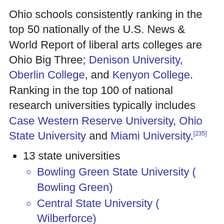Ohio schools consistently ranking in the top 50 nationally of the U.S. News & World Report of liberal arts colleges are Ohio Big Three; Denison University, Oberlin College, and Kenyon College. Ranking in the top 100 of national research universities typically includes Case Western Reserve University, Ohio State University and Miami University.[235]
13 state universities
Bowling Green State University ( Bowling Green)
Central State University ( Wilberforce)
Cleveland State University ( Cleveland)
Kent State University ( Kent)
Miami University ( Oxford)
Ohio State University, ( Columbus)
Ohio University ( Athens)